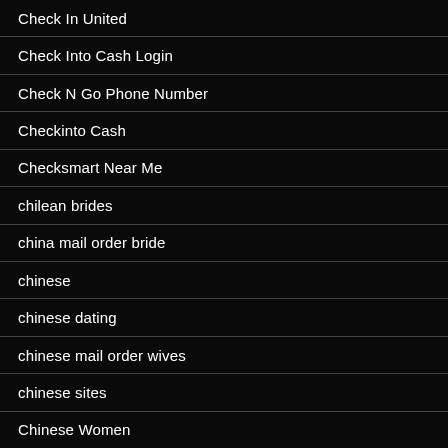Check In United
Check Into Cash Login
Check N Go Phone Number
Checkinto Cash
Checksmart Near Me
chilean brides
china mail order bride
chinese
chinese dating
chinese mail order wives
chinese sites
Chinese Women